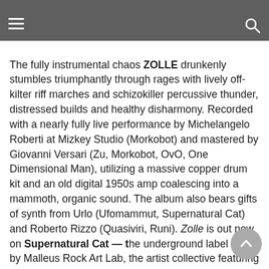Blazing out of the backwoods of Lodi, Italy, the ZOLLE duo this week harvest their belligerently unhinged self-titled, debut full-length of rural rampage!
The fully instrumental chaos ZOLLE drunkenly stumbles triumphantly through rages with lively off-kilter riff marches and schizokiller percussive thunder, distressed builds and healthy disharmony. Recorded with a nearly fully live performance by Michelangelo Roberti at Mizkey Studio (Morkobot) and mastered by Giovanni Versari (Zu, Morkobot, OvO, One Dimensional Man), utilizing a massive copper drum kit and an old digital 1950s amp coalescing into a mammoth, organic sound. The album also bears gifts of synth from Urlo (Ufomammut, Supernatural Cat) and Roberto Rizzo (Quasiviri, Runi). Zolle is out now on Supernatural Cat — the underground label run by Malleus Rock Art Lab, the artist collective featuring two members of the psychedelic doom trio Ufomammut. Order the hand-screened 180-gram LP with included CD limited Malleus edition of Zolle direct from the label here.